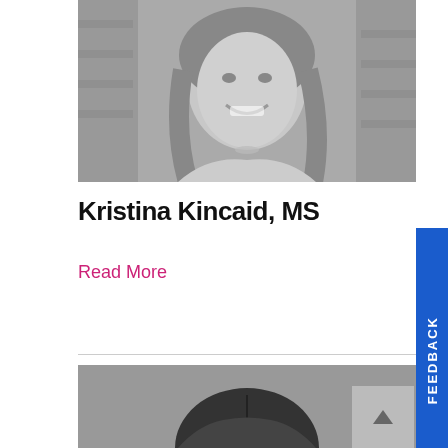[Figure (photo): Black and white portrait photo of a smiling young woman with long hair, brick wall background]
Kristina Kincaid, MS
Read More
[Figure (photo): Black and white portrait photo of a person with dark hair, top of head visible]